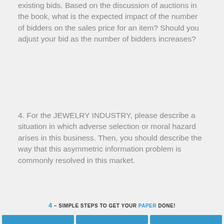existing bids. Based on the discussion of auctions in the book, what is the expected impact of the number of bidders on the sales price for an item? Should you adjust your bid as the number of bidders increases?
4. For the JEWELRY INDUSTRY, please describe a situation in which adverse selection or moral hazard arises in this business. Then, you should describe the way that this asymmetric information problem is commonly resolved in this market.
4 – SIMPLE STEPS TO GET YOUR PAPER DONE!